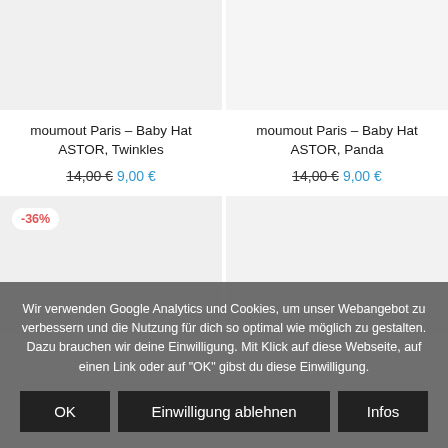moumout Paris – Baby Hat ASTOR, Twinkles
moumout Paris – Baby Hat ASTOR, Panda
14,00 € 9,00 €
14,00 € 9,00 €
-36%
Wir verwenden Google Analytics und Cookies, um unser Webangebot zu verbessern und die Nutzung für dich so optimal wie möglich zu gestalten. Dazu brauchen wir deine Einwilligung. Mit Klick auf diese Webseite, auf einen Link oder auf "OK" gibst du diese Einwilligung.
OK
Einwilligung ablehnen
Infos